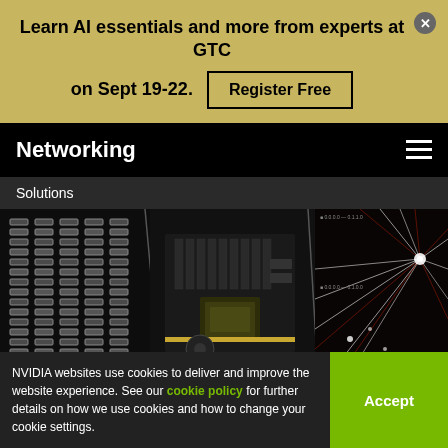Learn AI essentials and more from experts at GTC on Sept 19-22. Register Free
Networking
Solutions
[Figure (photo): Three-panel hero image showing: server rack cables on left, NVIDIA BlueField DPU networking card in center, and abstract light/data visualization on right]
NVIDIA BlueField DPUs Accelerate VMware vSphere®
NVIDIA websites use cookies to deliver and improve the website experience. See our cookie policy for further details on how we use cookies and how to change your cookie settings.